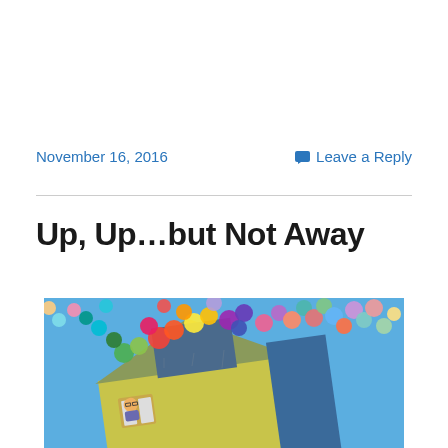November 16, 2016
Leave a Reply
Up, Up…but Not Away
[Figure (photo): Scene from the Pixar movie 'Up' showing a house lifted by hundreds of colorful balloons, with a character visible in a window looking up at the sky.]